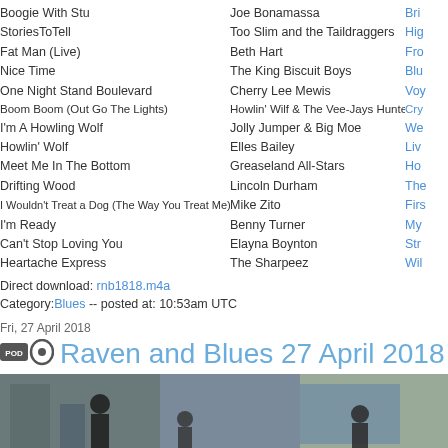| Song | Artist | Album |
| --- | --- | --- |
| Boogie With Stu | Joe Bonamassa | Bri… |
| StoriesToTell | Too Slim and the Taildraggers | Hig… |
| Fat Man (Live) | Beth Hart | Fro… |
| Nice Time | The King Biscuit Boys | Blu… |
| One Night Stand Boulevard | Cherry Lee Mewis | Voy… |
| Boom Boom (Out Go The Lights) | Howlin' Wilf & The Vee-Jays Hunter | Cry… |
| I'm A Howling Wolf | Jolly Jumper & Big Moe | We… |
| Howlin' Wolf | Elles Bailey | Liv… |
| Meet Me In The Bottom | Greaseland All-Stars | Ho… |
| Drifting Wood | Lincoln Durham | The… |
| I Wouldn't Treat a Dog (The Way You Treat Me) | Mike Zito | Firs… |
| I'm Ready | Benny Turner | My… |
| Can't Stop Loving You | Elayna Boynton | Str… |
| Heartache Express | The Sharpeez | Wil… |
Direct download: rnb1818.m4a
Category:Blues -- posted at: 10:53am UTC
Fri, 27 April 2018
Raven and Blues 27 April 2018
[Figure (photo): Outdoor event photo showing people at what appears to be a blues music festival or outdoor performance]